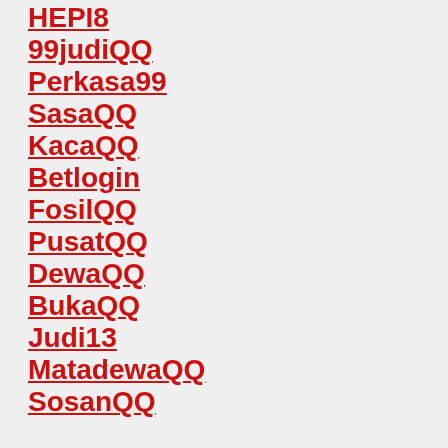HEPI8
99judiQQ
Perkasa99
SasaQQ
KacaQQ
Betlogin
FosilQQ
PusatQQ
DewaQQ
BukaQQ
Judi13
MatadewaQQ
SosanQQ